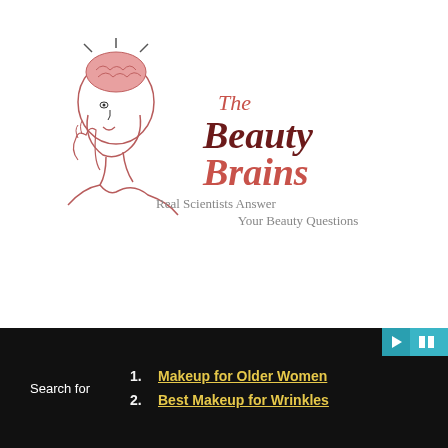[Figure (logo): The Beauty Brains logo: illustration of a person with exposed brain, text 'The Beauty Brains' and subtitle 'Real Scientists Answer Your Beauty Questions']
Search for
1. Makeup for Older Women
2. Best Makeup for Wrinkles